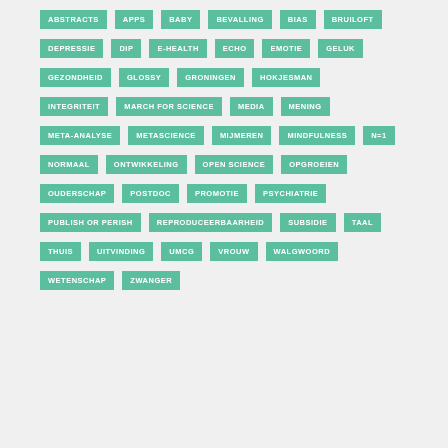......
ABSTRACTS
APPS
BABY
BEVALLING
BIAS
BRUILOFT
DEPRESSIE
DIP
E-HEALTH
ECHO
EMOTIE
GELUK
GEZONDHEID
GLOSSY
GRONINGEN
HOKJESMAN
INTEGRITEIT
MARCH FOR SCIENCE
MEDIA
MENING
META-ANALYSE
METASCIENCE
MIJMEREN
MINDFULNESS
N=1
NORMAAL
ONTWIKKELING
OPEN SCIENCE
OPGROEIEN
OUDERSCHAP
POSTDOC
PROMOTIE
PSYCHIATRIE
PUBLISH OR PERISH
REPRODUCEERBAARHEID
SUBSIDIE
TAAL
THUIS
UITVINDING
UMCG
VROUW
WALGWOORD
WETENSCHAP
ZWANGER